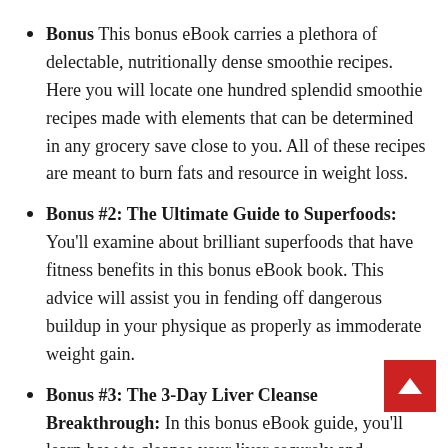Bonus This bonus eBook carries a plethora of delectable, nutritionally dense smoothie recipes. Here you will locate one hundred splendid smoothie recipes made with elements that can be determined in any grocery save close to you. All of these recipes are meant to burn fats and resource in weight loss.
Bonus #2: The Ultimate Guide to Superfoods: You'll examine about brilliant superfoods that have fitness benefits in this bonus eBook book. This advice will assist you in fending off dangerous buildup in your physique as properly as immoderate weight gain.
Bonus #3: The 3-Day Liver Cleanse Breakthrough: In this bonus eBook guide, you'll learn how to cleanse your liver securely and